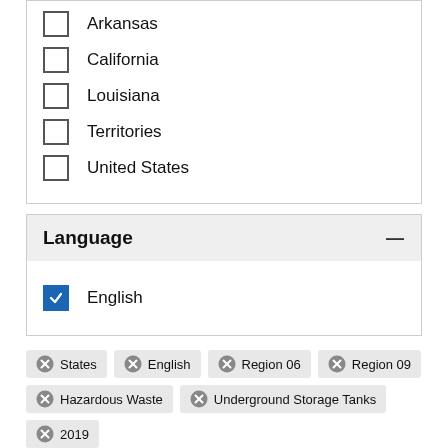Arkansas
California
Louisiana
Territories
United States
Language
English (checked)
States | English | Region 06 | Region 09 | Hazardous Waste | Underground Storage Tanks | 2019
Remove all filters